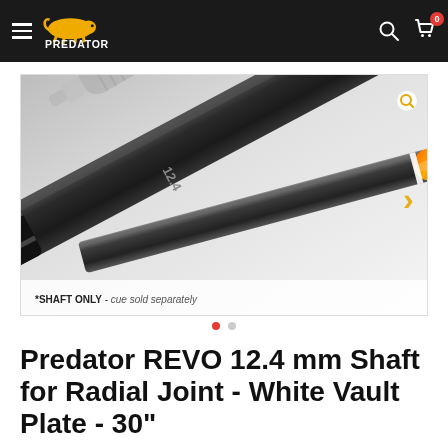Predator (logo/navigation header)
[Figure (photo): Close-up product photo of a Predator REVO 12.4mm billiard cue shaft (carbon fiber, matte black) with a screw joint and orange/amber tip. White background with label: *SHAFT ONLY - cue sold separately]
*SHAFT ONLY - cue sold separately
Predator REVO 12.4 mm Shaft for Radial Joint - White Vault Plate - 30"